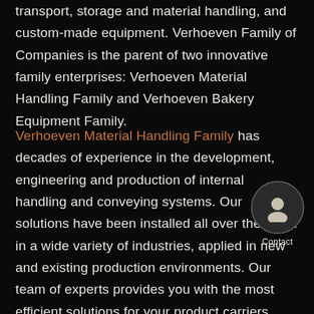transport, storage and material handling, and custom-made equipment. Verhoeven Family of Companies is the parent of two innovative family enterprises: Verhoeven Material Handling Family and Verhoeven Bakery Equipment Family.
Verhoeven Material Handling Family has decades of experience in the development, engineering and production of internal handling and conveying systems. Our solutions have been installed all over the world in a wide variety of industries, applied in new and existing production environments. Our team of experts provides you with the most efficient solutions for your product carriers. The whole development – and production process is performed under one roof to ensure you the ultimate flexibility, efficiency and quality. We are able to service you
[Figure (other): Contact button: circular dark icon with a person/user silhouette, labeled 'Contact' below]